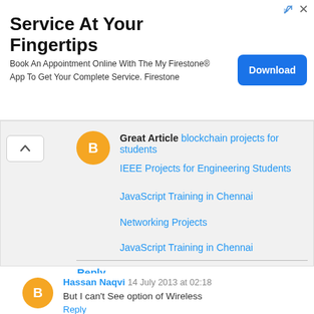[Figure (screenshot): Advertisement banner: Service At Your Fingertips - Book An Appointment Online With The My Firestone App To Get Your Complete Service. Firestone. Download button.]
Great Article blockchain projects for students
IEEE Projects for Engineering Students
JavaScript Training in Chennai
Networking Projects
JavaScript Training in Chennai
Reply
Hassan Naqvi  14 July 2013 at 02:18
But I can't See option of Wireless
Reply